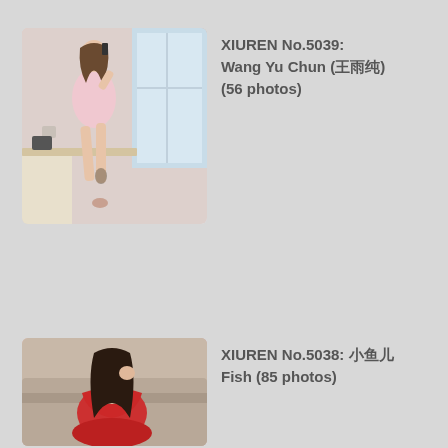[Figure (photo): Woman in pink dress sitting on a desk/counter in a hotel room, holding a phone, with tattoo on leg, wearing heels]
XIUREN No.5039: Wang Yu Chun (王雨纯) (56 photos)
[Figure (photo): Woman in red outfit sitting on a couch or sofa]
XIUREN No.5038: 小鱼儿 Fish (85 photos)